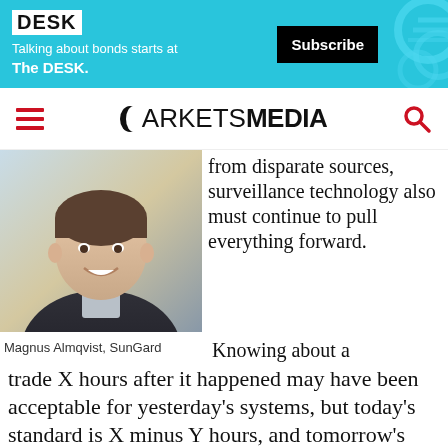[Figure (photo): Advertisement banner for The DESK publication with cyan/teal background, showing 'DESK' logo, tagline 'Talking about bonds starts at The DESK.' and a Subscribe button]
MARKETS MEDIA
[Figure (photo): Professional headshot of Magnus Almqvist from SunGard, a man in a dark suit smiling]
from disparate sources, surveillance technology also must continue to pull everything forward. Knowing about a trade X hours after it happened may have been acceptable for yesterday's systems, but today's standard is X minus Y hours, and tomorrow's will be X minus Y minus Z. This applies to trade surveillance across all
Magnus Almqvist, SunGard